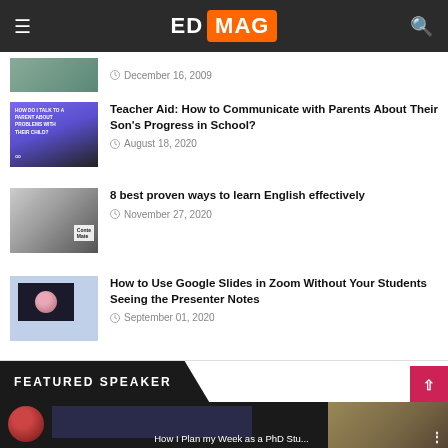ED MAG
December 16, 2009
Teacher Aid: How to Communicate with Parents About Their Son's Progress in School?
August 18, 2020
8 best proven ways to learn English effectively
November 27, 2020
How to Use Google Slides in Zoom Without Your Students Seeing the Presenter Notes
September 01, 2020
FEATURED SPEAKER
How I Plan my Week as a PhD Stu...